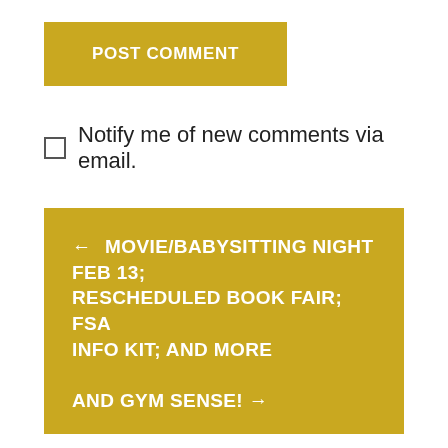POST COMMENT
Notify me of new comments via email.
← MOVIE/BABYSITTING NIGHT FEB 13; RESCHEDULED BOOK FAIR; FSA INFO KIT; AND MORE
AND GYM SENSE! →
Upcoming Events